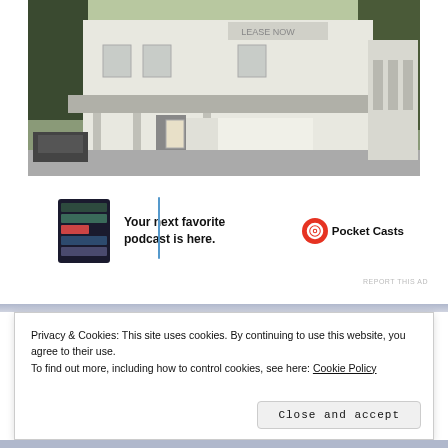[Figure (photo): Photograph of an old white wooden general store building with a covered front porch, a white van parked in front, and trees in the background. A street is visible in the foreground.]
[Figure (infographic): Advertisement banner for Pocket Casts podcast app. Shows app screenshot thumbnail on the left, bold text 'Your next favorite podcast is here.' in the center, and the Pocket Casts logo (red circle with white headphone icon) and brand name on the right.]
REPORT THIS AD
Privacy & Cookies: This site uses cookies. By continuing to use this website, you agree to their use.
To find out more, including how to control cookies, see here: Cookie Policy
Close and accept